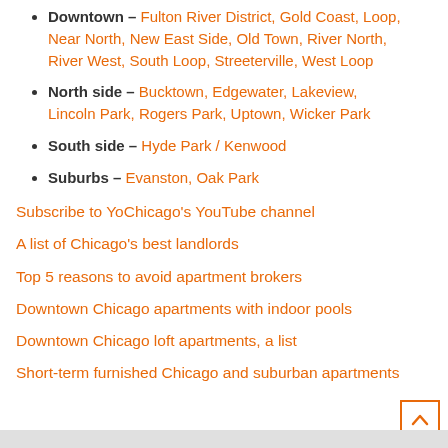Downtown – Fulton River District, Gold Coast, Loop, Near North, New East Side, Old Town, River North, River West, South Loop, Streeterville, West Loop
North side – Bucktown, Edgewater, Lakeview, Lincoln Park, Rogers Park, Uptown, Wicker Park
South side – Hyde Park / Kenwood
Suburbs – Evanston, Oak Park
Subscribe to YoChicago's YouTube channel
A list of Chicago's best landlords
Top 5 reasons to avoid apartment brokers
Downtown Chicago apartments with indoor pools
Downtown Chicago loft apartments, a list
Short-term furnished Chicago and suburban apartments